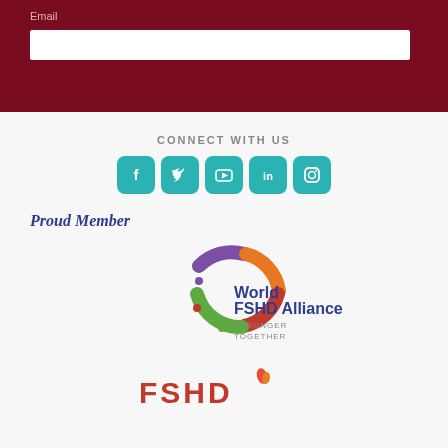Email
[Figure (infographic): CONNECT WITH US header with five social media icons: Facebook, Twitter, YouTube, LinkedIn, Instagram — all in teal/turquoise square rounded buttons]
Proud Member
[Figure (logo): World FSHD Alliance logo — circular puzzle pieces in purple, orange, red, green colors around text 'World FSHD Alliance STRONGER TOGETHER']
[Figure (logo): FSHD logo partial — red letters at bottom of page]